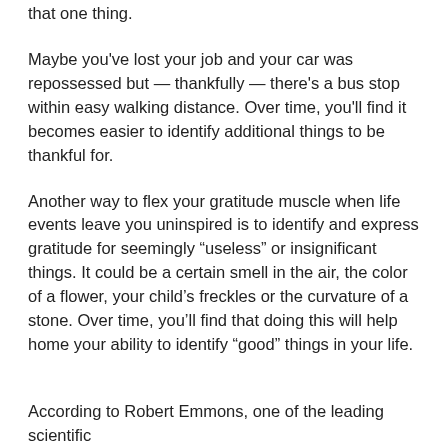that one thing.
Maybe you've lost your job and your car was repossessed but — thankfully — there's a bus stop within easy walking distance. Over time, you'll find it becomes easier to identify additional things to be thankful for.
Another way to flex your gratitude muscle when life events leave you uninspired is to identify and express gratitude for seemingly “useless” or insignificant things. It could be a certain smell in the air, the color of a flower, your child’s freckles or the curvature of a stone. Over time, you’ll find that doing this will help home your ability to identify “good” things in your life.
According to Robert Emmons, one of the leading scientific